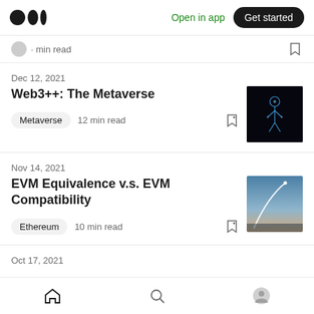Medium logo | Open in app | Get started
· min read
Dec 12, 2021
Web3++: The Metaverse
Metaverse  12 min read
[Figure (photo): Dark background image with glowing blue humanoid figure for Web3++ article]
Nov 14, 2021
EVM Equivalence v.s. EVM Compatibility
Ethereum  10 min read
[Figure (photo): Photo of rocket launch at dusk/dawn sky for EVM Equivalence article]
Oct 17, 2021
Home | Search | Profile